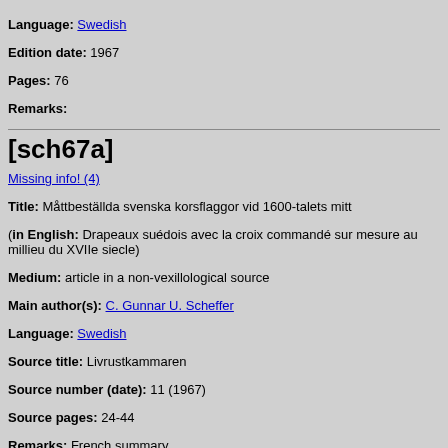Language: Swedish
Edition date: 1967
Pages: 76
Remarks:
[sch67a]
Missing info! (4)
Title: Måttbeställda svenska korsflaggor vid 1600-talets mitt
(in English: Drapeaux suédois avec la croix commandé sur mesure au millieu du XVIIe siecle)
Medium: article in a non-vexillological source
Main author(s): C. Gunnar U. Scheffer
Language: Swedish
Source title: Livrustkammaren
Source number (date): 11 (1967)
Source pages: 24-44
Remarks: French summary.
[sch67b]
Obsolete entry! Please refer to [sch67]